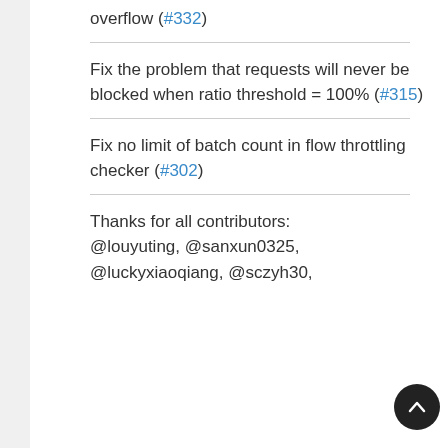overflow (#332)
Fix the problem that requests will never be blocked when ratio threshold = 100% (#315)
Fix no limit of batch count in flow throttling checker (#302)
Thanks for all contributors: @louyuting, @sanxun0325, @luckyxiaoqiang, @sczyh30,